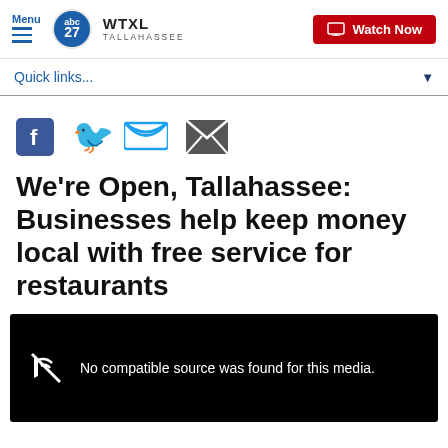Menu | WTXL TALLAHASSEE | Watch Now
Quick links...
[Figure (other): Social share icons: Facebook, Twitter, Email]
We're Open, Tallahassee: Businesses help keep money local with free service for restaurants
[Figure (other): Video player showing: No compatible source was found for this media.]